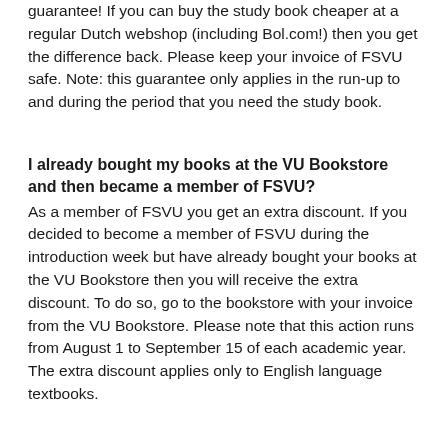guarantee! If you can buy the study book cheaper at a regular Dutch webshop (including Bol.com!) then you get the difference back. Please keep your invoice of FSVU safe. Note: this guarantee only applies in the run-up to and during the period that you need the study book.
I already bought my books at the VU Bookstore and then became a member of FSVU?
As a member of FSVU you get an extra discount. If you decided to become a member of FSVU during the introduction week but have already bought your books at the VU Bookstore then you will receive the extra discount. To do so, go to the bookstore with your invoice from the VU Bookstore. Please note that this action runs from August 1 to September 15 of each academic year. The extra discount applies only to English language textbooks.
Where can I become a member of FSVU?
Become a member of FSVU while ordering! This is easy to click on. With your first order, you'll usually have the membership fee